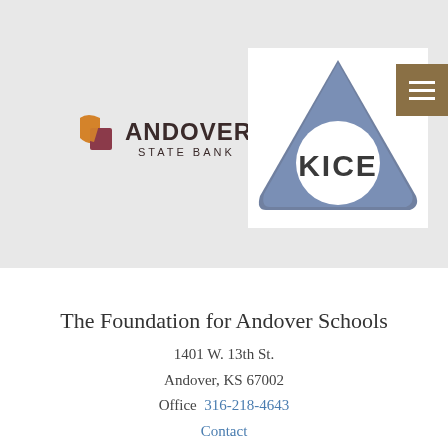[Figure (logo): Andover State Bank logo with orange and maroon geometric icon and text]
[Figure (logo): KICE logo — blue rounded triangle shape with white circle and KICE text inside]
The Foundation for Andover Schools
1401 W. 13th St.
Andover, KS 67002
Office  316-218-4643
Contact